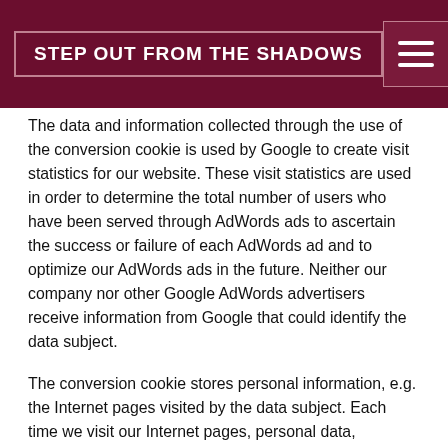STEP OUT FROM THE SHADOWS
The data and information collected through the use of the conversion cookie is used by Google to create visit statistics for our website. These visit statistics are used in order to determine the total number of users who have been served through AdWords ads to ascertain the success or failure of each AdWords ad and to optimize our AdWords ads in the future. Neither our company nor other Google AdWords advertisers receive information from Google that could identify the data subject.
The conversion cookie stores personal information, e.g. the Internet pages visited by the data subject. Each time we visit our Internet pages, personal data, including the IP address of the Internet access used by the data subject, is transmitted to Google in the United States of America. These personal data are stored by Google in the United States of America. Google may pass these personal data collected through the technical